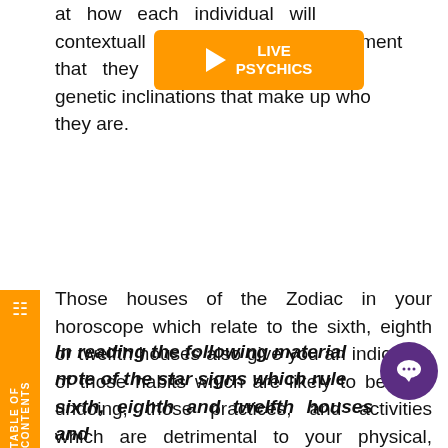at how each individual will contextually environment that they do with the genetic inclinations that make up who they are.
[Figure (other): Orange banner with play button icon and text 'LIVE PSYCHICS']
Those houses of the Zodiac in your horoscope which relate to the sixth, eighth or twelfth houses also give you an indication of those habits which are likely to be your undoing, those practices, and activities which are detrimental to your physical, mental, emotional and spiritual well-being.
[Figure (other): Orange vertical sidebar with book/menu icon and text 'TABLE OF CONTENTS']
In reading the following material note of the star signs which rule the sixth, eighth and twelfth houses and
[Figure (other): Purple circle with chat/speech bubble icon]